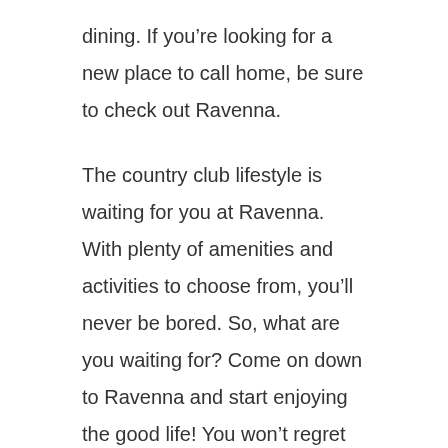dining. If you're looking for a new place to call home, be sure to check out Ravenna.
The country club lifestyle is waiting for you at Ravenna. With plenty of amenities and activities to choose from, you'll never be bored. So, what are you waiting for? Come on down to Ravenna and start enjoying the good life! You won't regret it.
There are plenty of amenities available to residents of Ravenna. In addition to the golf club and pool, there is also a fitness center and dining options. The fitness center is perfect for those who want to stay active, and the dining options are great for those who